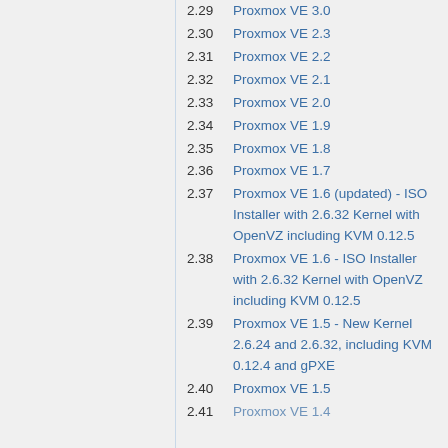2.29 Proxmox VE 3.0
2.30 Proxmox VE 2.3
2.31 Proxmox VE 2.2
2.32 Proxmox VE 2.1
2.33 Proxmox VE 2.0
2.34 Proxmox VE 1.9
2.35 Proxmox VE 1.8
2.36 Proxmox VE 1.7
2.37 Proxmox VE 1.6 (updated) - ISO Installer with 2.6.32 Kernel with OpenVZ including KVM 0.12.5
2.38 Proxmox VE 1.6 - ISO Installer with 2.6.32 Kernel with OpenVZ including KVM 0.12.5
2.39 Proxmox VE 1.5 - New Kernel 2.6.24 and 2.6.32, including KVM 0.12.4 and gPXE
2.40 Proxmox VE 1.5
2.41 Proxmox VE 1.4